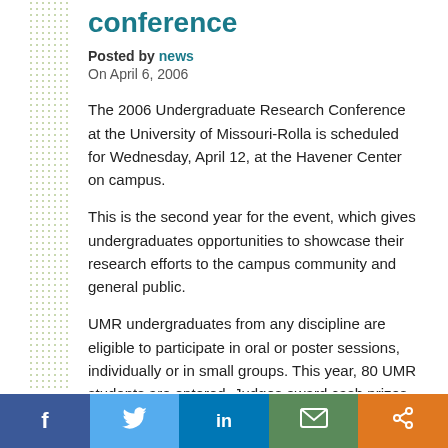conference
Posted by news
On April 6, 2006
The 2006 Undergraduate Research Conference at the University of Missouri-Rolla is scheduled for Wednesday, April 12, at the Havener Center on campus.
This is the second year for the event, which gives undergraduates opportunities to showcase their research efforts to the campus community and general public.
UMR undergraduates from any discipline are eligible to participate in oral or poster sessions, individually or in small groups. This year, 80 UMR students are entered. Judges award cash prizes in nine categories, which are based on fields of study.
“The conference is unique because it is a contest,” says Dr.
[Figure (other): Social media sharing bar with Facebook, Twitter, LinkedIn, email, and share buttons]